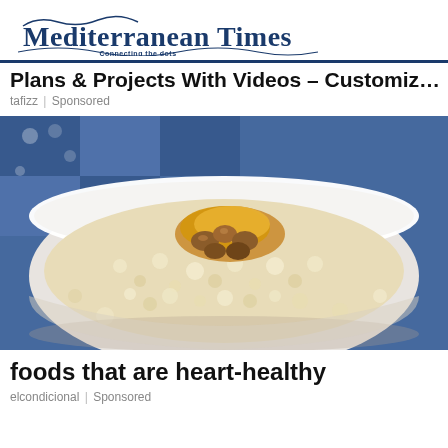Mediterranean Times — Connecting the dots
Plans & Projects With Videos – Customiz…
tafizz | Sponsored
[Figure (photo): Close-up photo of a white bowl filled with oatmeal/rice porridge topped with nuts and golden caramelized pieces, with a blue and white patterned cloth in the background]
foods that are heart-healthy
elcondicional | Sponsored